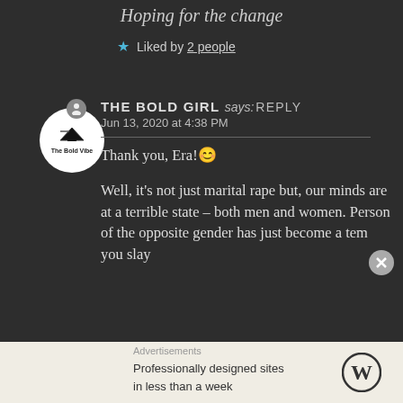Hoping for the change
★ Liked by 2 people
THE BOLD GIRL says: Reply
Jun 13, 2020 at 4:38 PM
Thank you, Era!😊
Well, it's not just marital rape but, our minds are at a terrible state – both men and women. Person of the opposite gender has just become a ten you slay
Advertisements
Professionally designed sites in less than a week